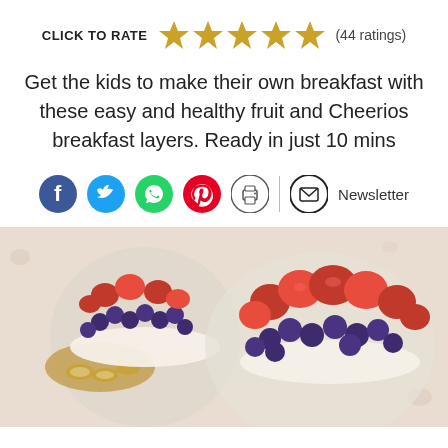CLICK TO RATE ★★★★★ (44 ratings)
Get the kids to make their own breakfast with these easy and healthy fruit and Cheerios breakfast layers. Ready in just 10 mins
[Figure (infographic): Social sharing icons: Facebook, Twitter, WhatsApp, Pinterest, Print, and a mail/Newsletter button]
[Figure (photo): Two glass cups filled with layered yogurt, blueberries, strawberries, and Cheerios cereal]